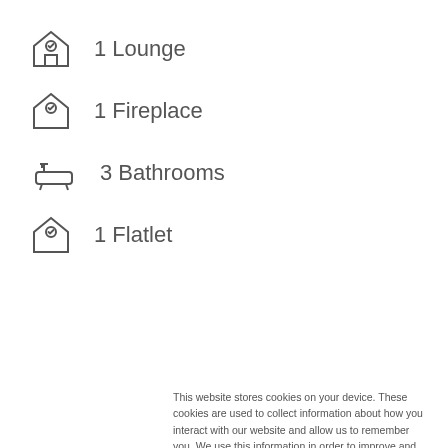1 Lounge
1 Fireplace
3 Bathrooms
1 Flatlet
This website stores cookies on your device. These cookies are used to collect information about how you interact with our website and allow us to remember you. We use this information in order to improve and customize your browsing experience and for analytics and metrics about our visitors both on this website and other media. To find out more about the cookies we use, see our Privacy Policy.
We won't track your information when you visit our site. But in order to comply with your preferences, we'll have to use just one tiny cookie so that you're not asked to make this choice again.